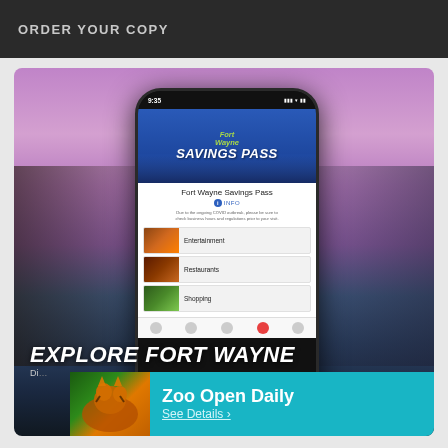ORDER YOUR COPY
[Figure (screenshot): Fort Wayne Savings Pass mobile app screenshot shown on a smartphone, overlaid on an aerial photo of Fort Wayne city skyline at dusk with purple/pink sky. The app shows categories: Entertainment, Restaurants, Shopping.]
EXPLORE FORT WAYNE
Di...
Zoo Open Daily
See Details ›